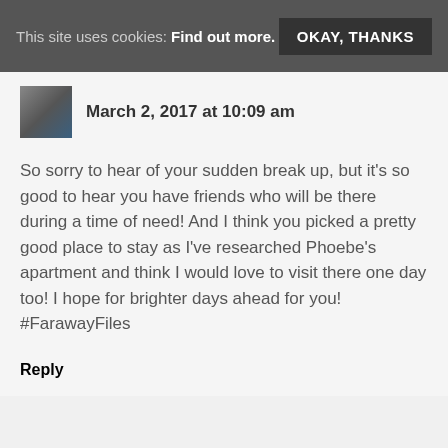This site uses cookies: Find out more.  OKAY, THANKS
March 2, 2017 at 10:09 am
So sorry to hear of your sudden break up, but it's so good to hear you have friends who will be there during a time of need! And I think you picked a pretty good place to stay as I've researched Phoebe's apartment and think I would love to visit there one day too! I hope for brighter days ahead for you! #FarawayFiles
Reply